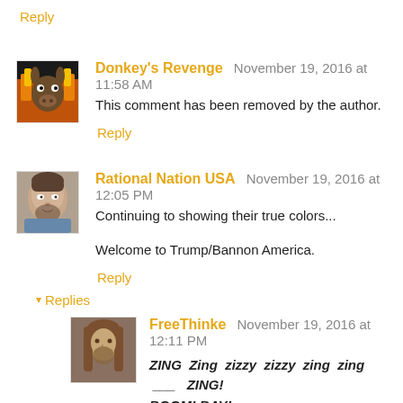Reply
Donkey's Revenge  November 19, 2016 at 11:58 AM
This comment has been removed by the author.
Reply
Rational Nation USA  November 19, 2016 at 12:05 PM
Continuing to showing their true colors...
Welcome to Trump/Bannon America.
Reply
Replies
FreeThinke  November 19, 2016 at 12:11 PM
ZING Zing zizzy zizzy zing zing ___ ZING! BOOM! BAY!